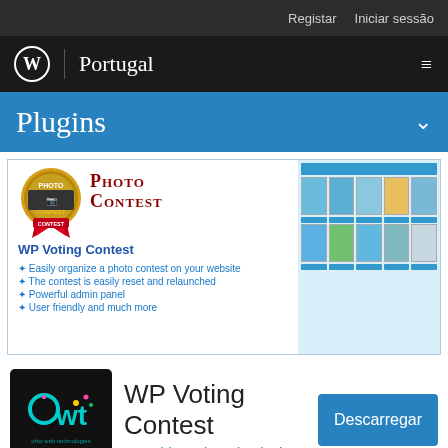Registar   Iniciar sessão
WordPress | Portugal
Plugins
[Figure (screenshot): Photo Contest WP Voting Contest plugin banner with feature list and screenshot grid showing photo contest entries]
[Figure (logo): Ohio Web Technologies logo - OWT icon in cyan on black background]
WP Voting Contest
Por Ohio Web Technologies
Descarregar